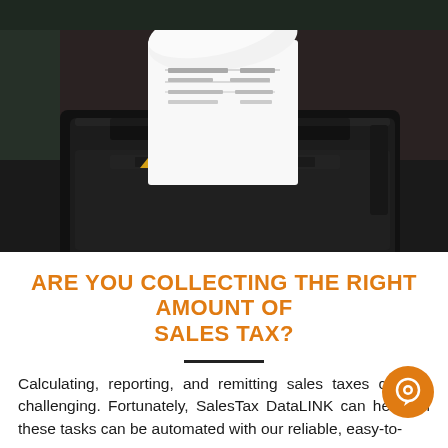[Figure (photo): Close-up photo of a black thermal receipt printer with a curled white receipt paper coming out of the top, sitting on a dark surface. The receipt shows printed text and numbers. Background is dark and slightly blurred.]
ARE YOU COLLECTING THE RIGHT AMOUNT OF SALES TAX?
Calculating, reporting, and remitting sales taxes can be challenging. Fortunately, SalesTax DataLINK can help. All these tasks can be automated with our reliable, easy-to-